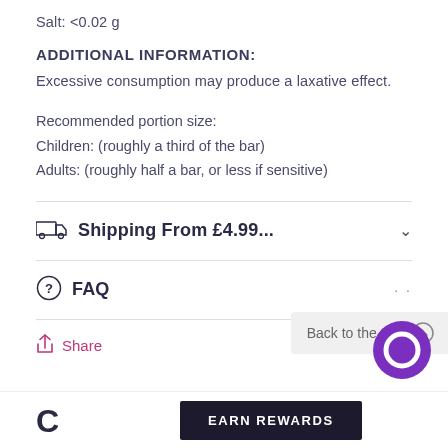Salt: <0.02 g
ADDITIONAL INFORMATION:
Excessive consumption may produce a laxative effect.
Recommended portion size:
Children: (roughly a third of the bar)
Adults: (roughly half a bar, or less if sensitive)
Shipping From £4.99...
FAQ
Share
Back to the top
EARN REWARDS